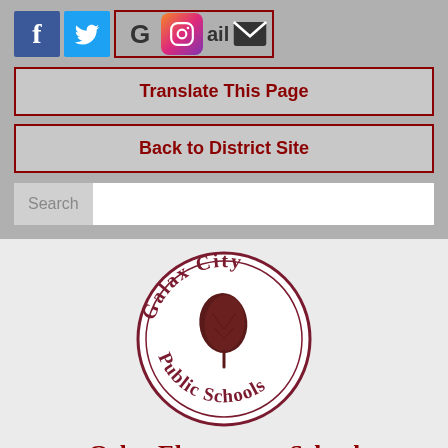[Figure (logo): Social media icons: Facebook (blue), Twitter (light blue), Google (G), Instagram (gradient), Gmail text, email envelope icon]
Translate This Page
Back to District Site
Search
[Figure (logo): Galax City Public Schools circular seal with a leaf in the center and text around the border]
Galax Elementary School